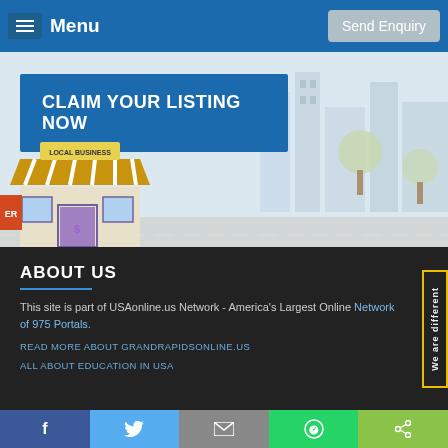Menu | Send Enquiry
[Figure (illustration): Hero banner with city background illustration, CLAIM YOUR LISTING NOW blue box, and a cartoon local business store front on the left]
ABOUT US
This site is part of USAonline.us Network - America's Largest Online Network of 975 Portals.
READ MORE ABOUT GRANDRAPIDSONLINE.US
ALL ABOUT EDUCATION IN USA
f | Twitter | Email | WhatsApp | Share